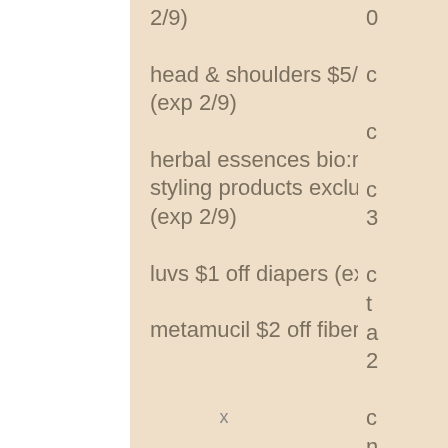2/9)
head & shoulders $5/2 315ml/10.6oz+ or clinical solutions (exp 2/9)
herbal essences bio:renew $5/2 shampoo, conditioner, or styling products excluding 100ml shampoo and conditioners (exp 2/9)
luvs $1 off diapers (exp 2/9)
metamucil $2 off fiber supplement product